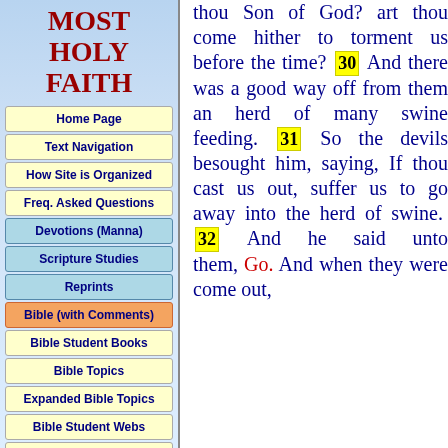MOST HOLY FAITH
Home Page
Text Navigation
How Site is Organized
Freq. Asked Questions
Devotions (Manna)
Scripture Studies
Reprints
Bible (with Comments)
Bible Student Books
Bible Topics
Expanded Bible Topics
Bible Student Webs
Miscellaneous
thou Son of God? art thou come hither to torment us before the time? 30 And there was a good way off from them an herd of many swine feeding. 31 So the devils besought him, saying, If thou cast us out, suffer us to go away into the herd of swine. 32 And he said unto them, Go. And when they were come out,